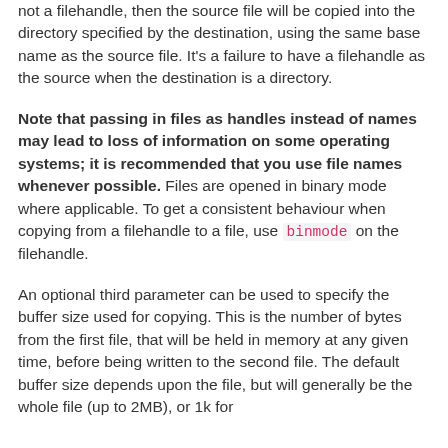not a filehandle, then the source file will be copied into the directory specified by the destination, using the same base name as the source file. It's a failure to have a filehandle as the source when the destination is a directory.
Note that passing in files as handles instead of names may lead to loss of information on some operating systems; it is recommended that you use file names whenever possible. Files are opened in binary mode where applicable. To get a consistent behaviour when copying from a filehandle to a file, use binmode on the filehandle.
An optional third parameter can be used to specify the buffer size used for copying. This is the number of bytes from the first file, that will be held in memory at any given time, before being written to the second file. The default buffer size depends upon the file, but will generally be the whole file (up to 2MB), or 1k for